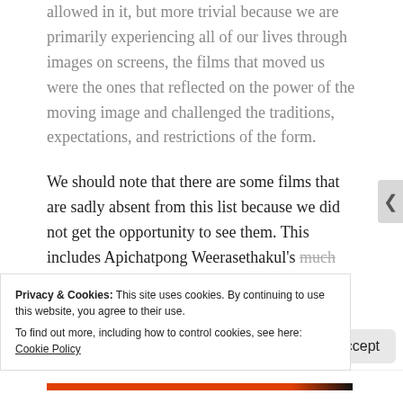allowed in it, but more trivial because we are primarily experiencing all of our lives through images on screens, the films that moved us were the ones that reflected on the power of the moving image and challenged the traditions, expectations, and restrictions of the form.
We should note that there are some films that are sadly absent from this list because we did not get the opportunity to see them. This includes Apichatpong Weerasethakul's much heralded Memoria, Hong Sang-soo's In
Privacy & Cookies: This site uses cookies. By continuing to use this website, you agree to their use.
To find out more, including how to control cookies, see here: Cookie Policy
Close and accept